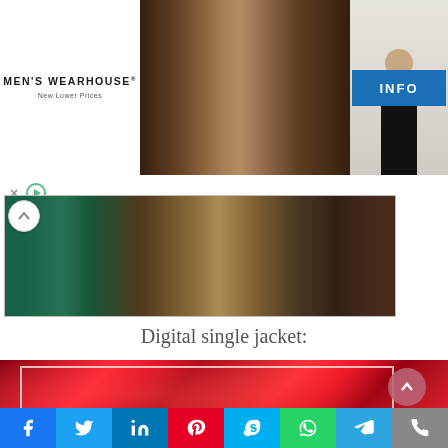[Figure (photo): Men's Wearhouse advertisement banner with couple in wedding attire and man in tuxedo, with INFO button]
[Figure (photo): Decorative collage background image with greenery and architectural elements]
Digital single jacket:
[Figure (photo): Red rose petals close-up image with white inner border rectangle]
[Figure (infographic): Social media sharing bar with Facebook, Twitter, LinkedIn, Pinterest, Skype, WhatsApp, Telegram, and phone buttons]